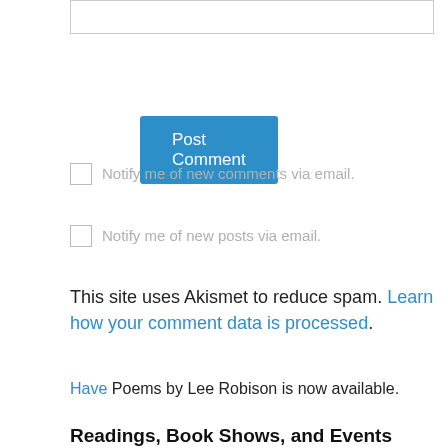[input box]
Post Comment
Notify me of new comments via email.
Notify me of new posts via email.
This site uses Akismet to reduce spam. Learn how your comment data is processed.
Have Poems by Lee Robison is now available.
Readings, Book Shows, and Events